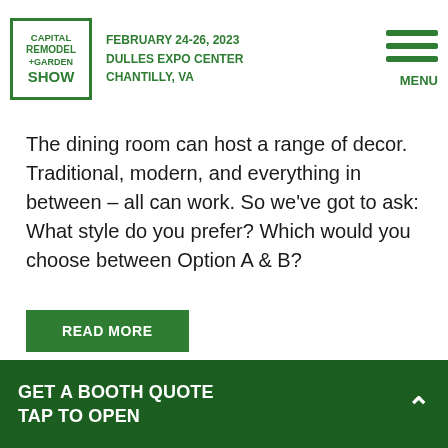CAPITAL REMODEL +GARDEN SHOW | FEBRUARY 24-26, 2023 | DULLES EXPO CENTER | CHANTILLY, VA
The dining room can host a range of decor. Traditional, modern, and everything in between – all can work. So we've got to ask: What style do you prefer? Which would you choose between Option A & B?
READ MORE
[Figure (photo): Red KitchenAid stand mixer with stainless steel bowl, photographed from the side]
GET A BOOTH QUOTE
TAP TO OPEN